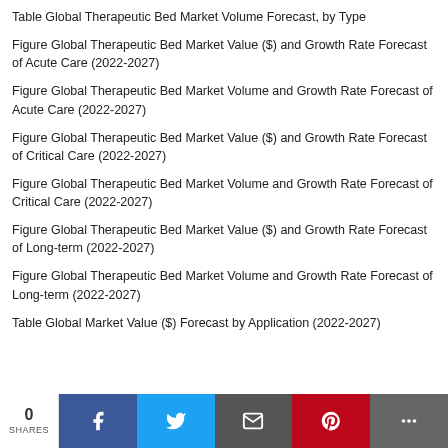Table Global Therapeutic Bed Market Volume Forecast, by Type
Figure Global Therapeutic Bed Market Value ($) and Growth Rate Forecast of Acute Care (2022-2027)
Figure Global Therapeutic Bed Market Volume and Growth Rate Forecast of Acute Care (2022-2027)
Figure Global Therapeutic Bed Market Value ($) and Growth Rate Forecast of Critical Care (2022-2027)
Figure Global Therapeutic Bed Market Volume and Growth Rate Forecast of Critical Care (2022-2027)
Figure Global Therapeutic Bed Market Value ($) and Growth Rate Forecast of Long-term (2022-2027)
Figure Global Therapeutic Bed Market Volume and Growth Rate Forecast of Long-term (2022-2027)
Table Global Market Value ($) Forecast by Application (2022-2027)